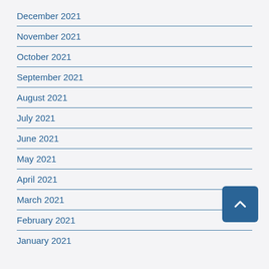December 2021
November 2021
October 2021
September 2021
August 2021
July 2021
June 2021
May 2021
April 2021
March 2021
February 2021
January 2021